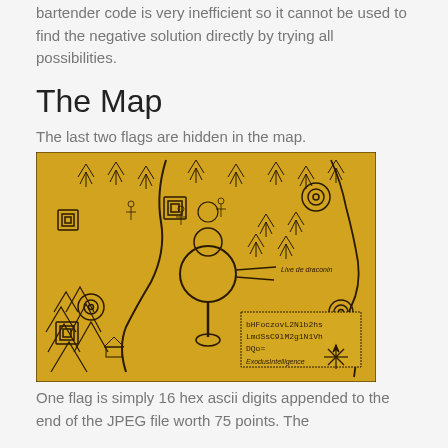bartender code is very inefficient so it cannot be used to find the negative solution directly by trying all possibilities.
The Map
The last two flags are hidden in the map.
[Figure (map): A hand-drawn treasure map style illustration on yellow/golden background, featuring trees, mountains, rivers, circular symbols (QR-like squares), a large central circular area, and a text box in the lower right containing: bHFoczovL2Nlb2hs LmdSsC9lM2g1N1Vh DQo= with label ExodusIntelligence at bottom.]
One flag is simply 16 hex ascii digits appended to the end of the JPEG file worth 75 points. The